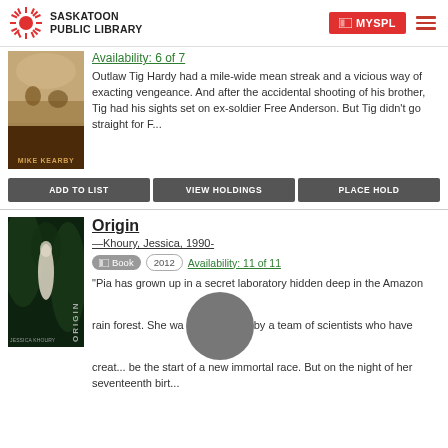SASKATOON PUBLIC LIBRARY | MYSPL
[Figure (screenshot): Partial book cover for Mike Kearby western novel showing cowboys/horses scene with dark brown banner at bottom reading MIKE KEARBY]
Availability: 6 of 7
Outlaw Tig Hardy had a mile-wide mean streak and a vicious way of exacting vengeance. And after the accidental shooting of his brother, Tig had his sights set on ex-soldier Free Anderson. But Tig didn't go straight for F...
ADD TO LIST
VIEW HOLDINGS
PLACE HOLD
Origin
—Khoury, Jessica, 1990-
Book  2012  Availability: 11 of 11
[Figure (photo): Book cover for Origin by Jessica Khoury showing a figure in a jungle/rain forest setting with the title ORIGIN in vertical text]
"Pia has grown up in a secret laboratory hidden deep in the Amazon rain forest. She wa... by a team of scientists who have creat... be the start of a new immortal race. But on the night of her seventeenth birt...